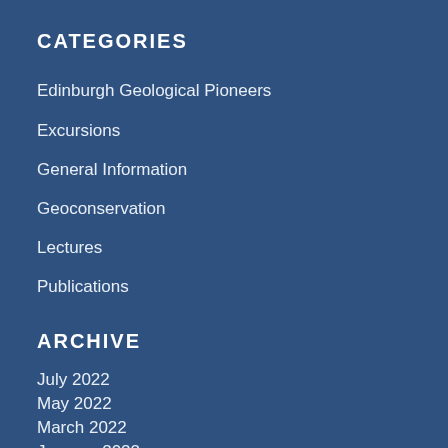CATEGORIES
Edinburgh Geological Pioneers
Excursions
General Information
Geoconservation
Lectures
Publications
ARCHIVE
July 2022
May 2022
March 2022
January 2022
December 2021